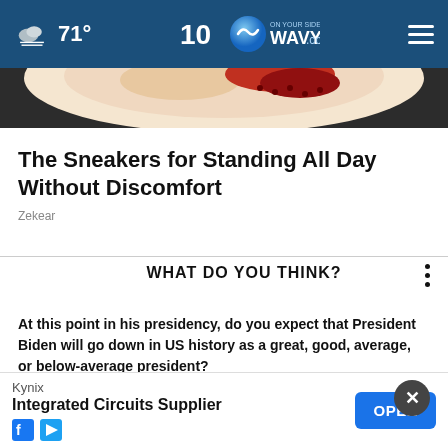71° WAVY.com ON YOUR SIDE
[Figure (photo): Partial view of a sneaker showing colorful sole detail]
The Sneakers for Standing All Day Without Discomfort
Zekear
WHAT DO YOU THINK?
At this point in his presidency, do you expect that President Biden will go down in US history as a great, good, average, or below-average president?
A great president
A good president
A below-average president
[Figure (screenshot): Kynix Integrated Circuits Supplier advertisement with OPEN button]